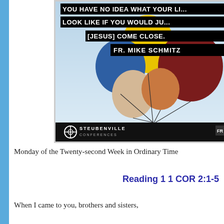[Figure (photo): Promotional image from Steubenville Conferences featuring colorful balloons against a sky background, with overlaid text quote: 'YOU HAVE NO IDEA WHAT YOUR LIFE WOULD LOOK LIKE IF YOU WOULD JUST LET [JESUS] COME CLOSE.' attributed to FR. MIKE SCHMITZ, with Steubenville Conferences logo at bottom.]
Monday of the Twenty-second Week in Ordinary Time
Reading 1 1 COR 2:1-5
When I came to you, brothers and sisters,